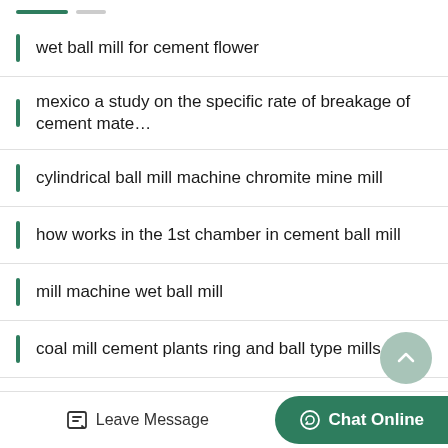wet ball mill for cement flower
mexico a study on the specific rate of breakage of cement mate…
cylindrical ball mill machine chromite mine mill
how works in the 1st chamber in cement ball mill
mill machine wet ball mill
coal mill cement plants ring and ball type mills
cement ball mill maintenance uniform somalia
virgin islands ball mill mainte…
Leave Message   Chat Online